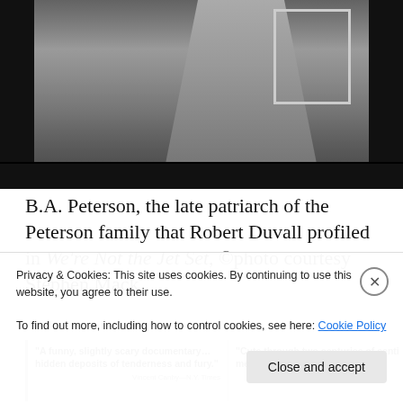[Figure (photo): Black and white photograph of B.A. Peterson standing outdoors, shown from torso down, with farm fence visible in background. Image has film strip borders on left and right edges.]
B.A. Peterson, the late patriarch of the Peterson family that Robert Duvall profiled in We're Not the Jet Set, ©photo courtesy Stephen Mack
[Figure (screenshot): Partial view of newspaper/book review quotes about a documentary. Left quote: "A funny, slightly scary documentary… hidden deposits of tenderness and fury." attributed to Vincent Canby—N.Y. Times. Right quote (partial): "Cuts through two centuries of sentimental crap about..."]
Privacy & Cookies: This site uses cookies. By continuing to use this website, you agree to their use.
To find out more, including how to control cookies, see here: Cookie Policy